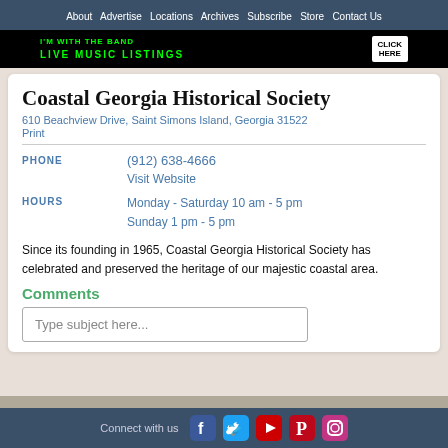About  Advertise  Locations  Archives  Subscribe  Store  Contact Us
[Figure (other): Banner advertisement: I'M WITH THE BAND – LIVE MUSIC LISTINGS, CLICK HERE, green neon style on dark background]
Coastal Georgia Historical Society
610 Beachview Drive, Saint Simons Island, Georgia 31522
Print
|  |  |
| --- | --- |
| PHONE | (912) 638-4666 |
|  | Visit Website |
| HOURS | Monday - Saturday 10 am - 5 pm
Sunday 1 pm - 5 pm |
Since its founding in 1965, Coastal Georgia Historical Society has celebrated and preserved the heritage of our majestic coastal area.
Comments
Type subject here...
Connect with us  [Facebook] [Twitter] [YouTube] [Pinterest] [Instagram]